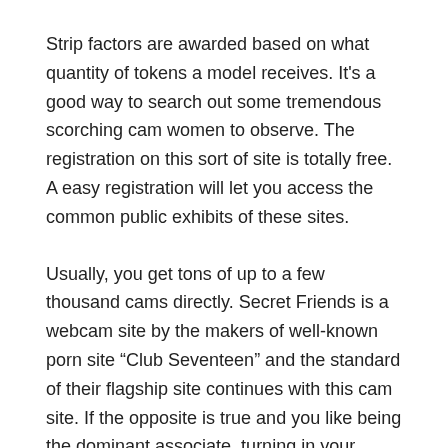Strip factors are awarded based on what quantity of tokens a model receives. It's a good way to search out some tremendous scorching cam women to observe. The registration on this sort of site is totally free. A easy registration will let you access the common public exhibits of these sites.
Usually, you get tons of up to a few thousand cams directly. Secret Friends is a webcam site by the makers of well-known porn site “Club Seventeen” and the standard of their flagship site continues with this cam site. If the opposite is true and you like being the dominant associate, turning in your webcam reveals her that you’re serious and that you simply anticipate her to do as she’s told. After all, you’re watching to ensure she follows via. There are many unique European models on BongaCams, and also you simply can’t discover them on any other cam site. They are highly recommended